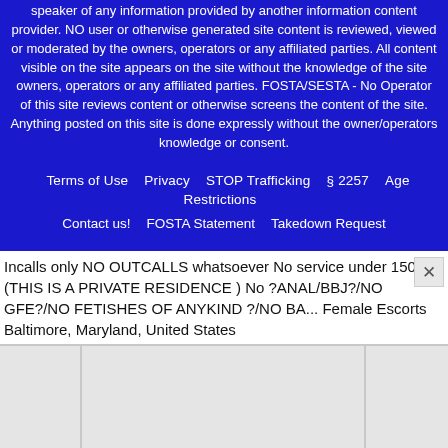speaker of any information provided by another information content provider. NO user or otherwise generated site content is reviewed, viewed or moderated by the owners, operators or any affiliated parties. All content visible on the site appears on the site without the knowledge of the site owners, operators or any affiliated parties. FOSTA/SESTA - No Operator of this site reviews content or otherwise screens the content of the site. Anything posted on this site is done expressly without the owner/operators knowledge or consent.
Terms of Use    Privacy    STOP Trafficking    § 2257    Age Restrictions
Contact us!    FOSTA Statement    Takedown Request
Incalls only NO OUTCALLS whatsoever No service under 150 (THIS IS A PRIVATE RESIDENCE ) No ?ANAL/BBJ?/NO GFE?/NO FETISHES OF ANYKIND ?/NO BA... Female Escorts Baltimore, Maryland, United States